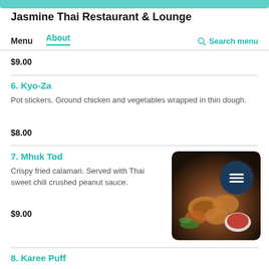Jasmine Thai Restaurant & Lounge
Menu   About   Search menu
$9.00
6. Kyo-Za
Pot stickers. Ground chicken and vegetables wrapped in thin dough.
$8.00
7. Mhuk Tod
Crispy fried calamari. Served with Thai sweet chili crushed peanut sauce.
$9.00
[Figure (photo): Photo of Mhuk Tod (crispy fried calamari) with a bowl of red dipping sauce and garnish on a plate, with a dark navy circular menu icon overlay.]
8. Karee Puff